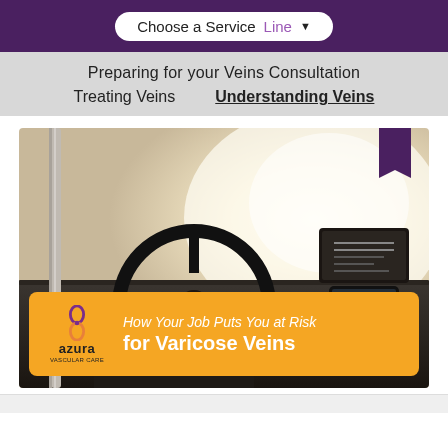Choose a Service Line ▼
Preparing for your Veins Consultation
Treating Veins    Understanding Veins
[Figure (photo): Bus driver sitting at the steering wheel inside a bus cab, viewed from behind, dashboard visible. An orange banner overlay at the bottom with Azura Vascular Care logo and text: How Your Job Puts You at Risk for Varicose Veins]